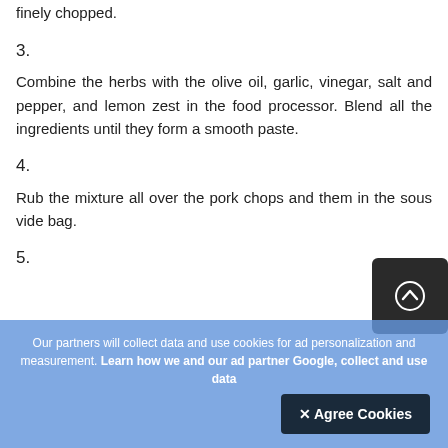finely chopped.
3.
Combine the herbs with the olive oil, garlic, vinegar, salt and pepper, and lemon zest in the food processor. Blend all the ingredients until they form a smooth paste.
4.
Rub the mixture all over the pork chops and them in the sous vide bag.
5.
Our partners will collect data and use cookies for ad personalization and measurement. Learn how we and our ad partner Google, collect and use data
✕ Agree Cookies